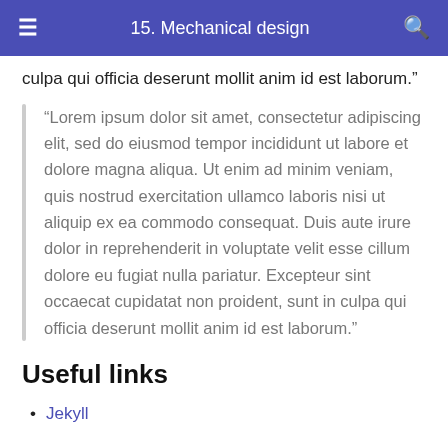15. Mechanical design
culpa qui officia deserunt mollit anim id est laborum.”
“Lorem ipsum dolor sit amet, consectetur adipiscing elit, sed do eiusmod tempor incididunt ut labore et dolore magna aliqua. Ut enim ad minim veniam, quis nostrud exercitation ullamco laboris nisi ut aliquip ex ea commodo consequat. Duis aute irure dolor in reprehenderit in voluptate velit esse cillum dolore eu fugiat nulla pariatur. Excepteur sint occaecat cupidatat non proident, sunt in culpa qui officia deserunt mollit anim id est laborum.”
Useful links
Jekyll